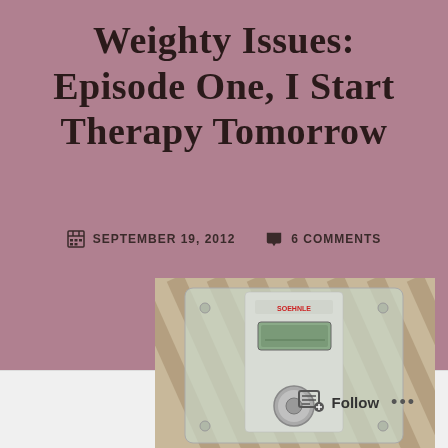Weighty Issues: Episode One, I Start Therapy Tomorrow
SEPTEMBER 19, 2012   6 COMMENTS
[Figure (photo): A bathroom weighing scale (Soehnle brand) with a glass top and digital display, photographed on a patterned floor]
Follow ...